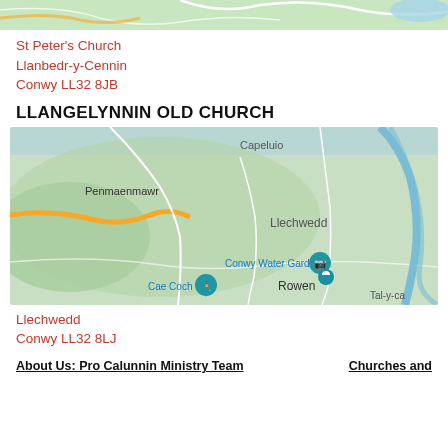[Figure (map): Top portion of a Google Map showing a green terrain area, partially cut off at top of page.]
St Peter's Church
Llanbedr-y-Cennin
Conwy LL32 8JB
LLANGELYNNIN OLD CHURCH
[Figure (map): Google Map showing area around Llangelynnin Old Church near Penmaenmawr, Llechwedd, Conwy Water Gardens, Cae Coch, Rowen, and Tal-y-ca. Blue location pins visible. Green terrain with road markings and blue water features.]
Llechwedd
Conwy LL32 8LJ
About Us: Pro Calunnin Ministry Team    Churches and